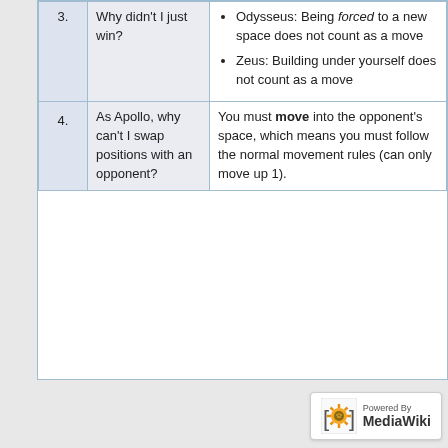| # | Question | Answer |
| --- | --- | --- |
| 3. | Why didn't I just win? | • Odysseus: Being forced to a new space does not count as a move
• Zeus: Building under yourself does not count as a move |
| 4. | As Apollo, why can't I swap positions with an opponent? | You must move into the opponent's space, which means you must follow the normal movement rules (can only move up 1). |